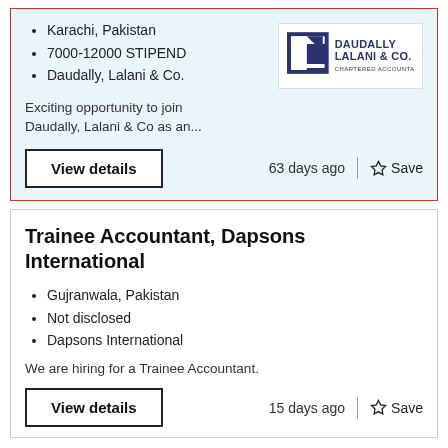Karachi, Pakistan
7000-12000 STIPEND
Daudally, Lalani & Co.
[Figure (logo): Daudally Lalani & Co. Chartered Accountants logo — dark blue square with stylized DL mark, company name in dark blue text]
Exciting opportunity to join Daudally, Lalani & Co as an...
View details
63 days ago
Save
Trainee Accountant, Dapsons International
Gujranwala, Pakistan
Not disclosed
Dapsons International
We are hiring for a Trainee Accountant.
View details
15 days ago
Save